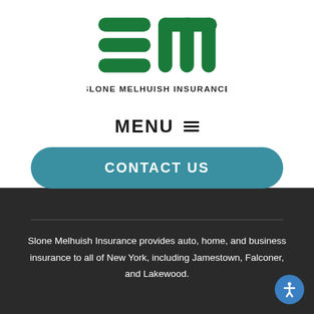[Figure (logo): Slone Melhuish Insurance logo — green stylized S and M lettermark with text 'SLONE MELHUISH INSURANCE' below]
MENU ≡
CONTACT US
Slone Melhuish Insurance provides auto, home, and business insurance to all of New York, including Jamestown, Falconer, and Lakewood.